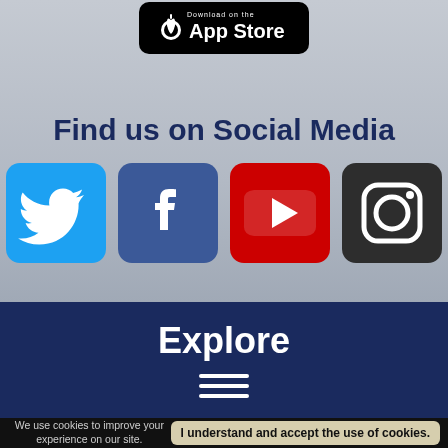[Figure (logo): Download on the App Store badge with Apple logo]
Find us on Social Media
[Figure (infographic): Social media icons: Twitter (blue), Facebook (dark blue), YouTube (red), Instagram (dark/black)]
Explore
[Figure (infographic): Hamburger menu icon (three horizontal white lines)]
We use cookies to improve your experience on our site.
I understand and accept the use of cookies.